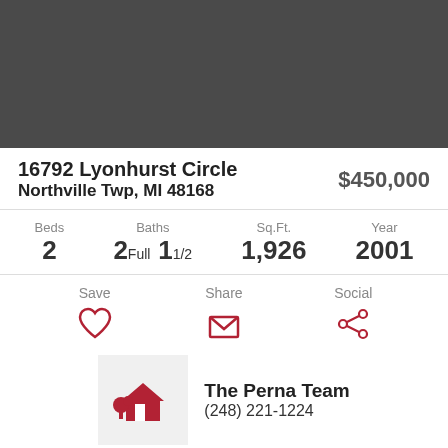[Figure (photo): Property photo placeholder (dark gray background)]
16792 Lyonhurst Circle
Northville Twp, MI 48168
$450,000
Beds 2  Baths 2 Full 1 1/2  Sq.Ft. 1,926  Year 2001
Save  Share  Social
The Perna Team
(248) 221-1224
Ask a Question